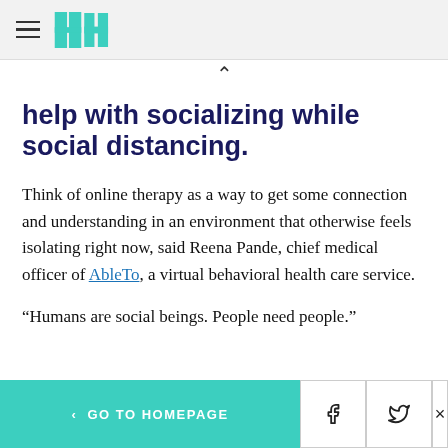HuffPost header with hamburger menu and logo
help with socializing while social distancing.
Think of online therapy as a way to get some connection and understanding in an environment that otherwise feels isolating right now, said Reena Pande, chief medical officer of AbleTo, a virtual behavioral health care service.
“Humans are social beings. People need people.”
< GO TO HOMEPAGE  [Facebook] [Twitter] [X]